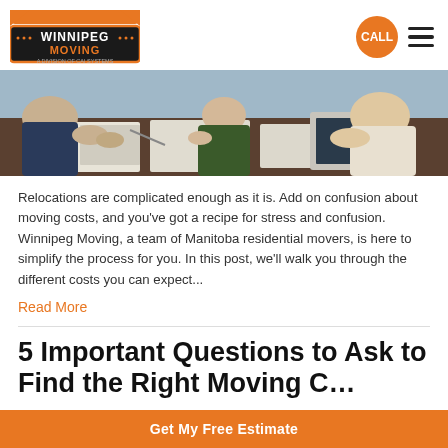Winnipeg Moving | CALL | Menu
[Figure (photo): People sitting around a meeting table with papers and laptops, viewed from above at an angle]
Relocations are complicated enough as it is. Add on confusion about moving costs, and you've got a recipe for stress and confusion. Winnipeg Moving, a team of Manitoba residential movers, is here to simplify the process for you. In this post, we'll walk you through the different costs you can expect...
Read More
5 Important Questions to Ask to Find the Right Moving C…
Get My Free Estimate